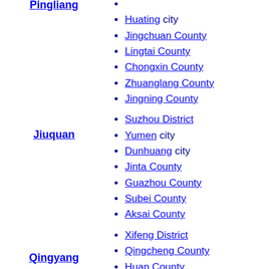Pingliang
Huating city
Jingchuan County
Lingtai County
Chongxin County
Zhuanglang County
Jingning County
Jiuquan
Suzhou District
Yumen city
Dunhuang city
Jinta County
Guazhou County
Subei County
Aksai County
Qingyang
Xifeng District
Qingcheng County
Huan County
Huachi County
Heshui County
Zhengning County
Ning County
Zhenyuan County
Anding District